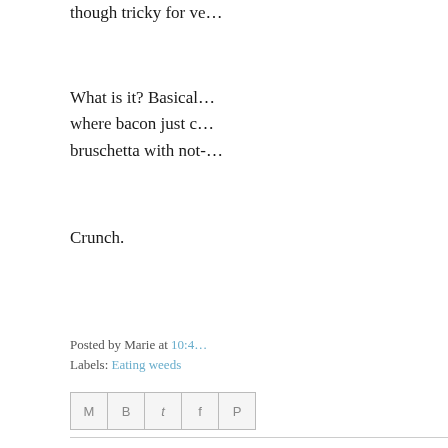though tricky for ve…
What is it? Basically… where bacon just c… bruschetta with not-…
Crunch.
Posted by Marie at 10:4…
Labels: Eating weeds
[Figure (other): Social share icons: Email, Blogger, Twitter, Facebook, Pinterest]